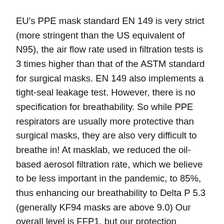EU's PPE mask standard EN 149 is very strict (more stringent than the US equivalent of N95), the air flow rate used in filtration tests is 3 times higher than that of the ASTM standard for surgical masks. EN 149 also implements a tight-seal leakage test. However, there is no specification for breathability. So while PPE respirators are usually more protective than surgical masks, they are also very difficult to breathe in! At masklab, we reduced the oil-based aerosol filtration rate, which we believe to be less important in the pandemic, to 85%, thus enhancing our breathability to Delta P 5.3 (generally KF94 masks are above 9.0) Our overall level is FFP1, but our protection against viruses is actually FFP2 level.
Many people may wonder: Oil-free high-flow-rate aerosol particulate filtration of 95%? Does that mean